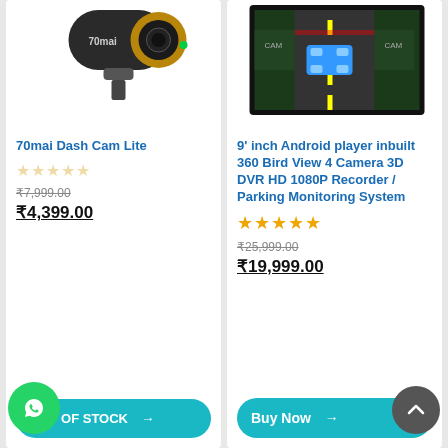[Figure (photo): 70mai Dash Cam Lite product photo on white background]
70mai Dash Cam Lite
₹7,999.00 ₹4,399.00
OUT OF STOCK →
[Figure (photo): 9 inch Android player with 360 Bird View camera system product screenshot]
9' inch Android player inbuilt 360 Bird View 4 Camera 3D DVR HD 1080P Recorder / Parking Monitoring System
★★★★★
₹25,999.00 ₹19,999.00
Buy Now →